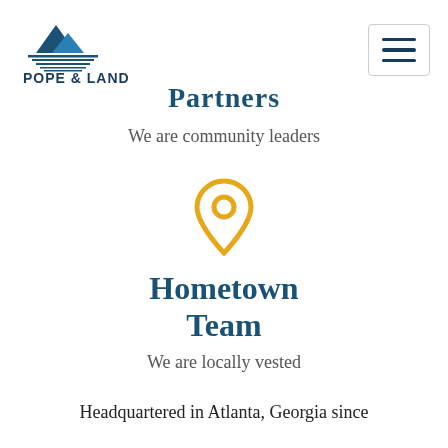[Figure (logo): Pope & Land Real Estate logo with blue mountain/building icon and horizontal lines]
[Figure (other): Hamburger menu icon (three horizontal lines) in a bordered box]
Partners
We are community leaders
[Figure (illustration): Gold/yellow map pin / location pin icon]
Hometown Team
We are locally vested
Headquartered in Atlanta, Georgia since